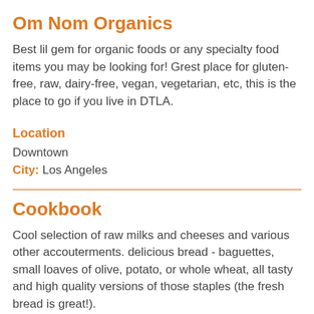Om Nom Organics
Best lil gem for organic foods or any specialty food items you may be looking for! Grest place for gluten-free, raw, dairy-free, vegan, vegetarian, etc, this is the place to go if you live in DTLA.
Location
Downtown
City: Los Angeles
Cookbook
Cool selection of raw milks and cheeses and various other accouterments. delicious bread - baguettes, small loaves of olive, potato, or whole wheat, all tasty and high quality versions of those staples (the fresh bread is great!).